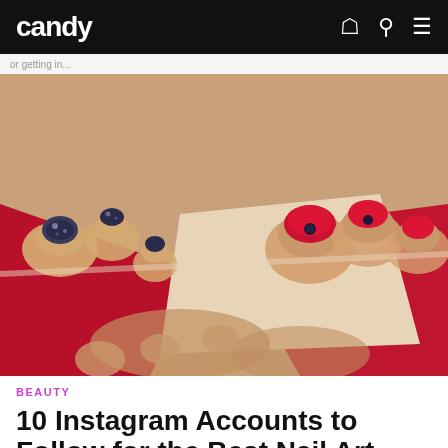candy
or getting in...
[Figure (photo): Close-up photo of decorated toenails with nail art — red polish with dark dot accents on one foot, dark glittery nail art on the other foot, set against a blurred red and light background.]
BEAUTY
10 Instagram Accounts to Follow for the Best Nail Art